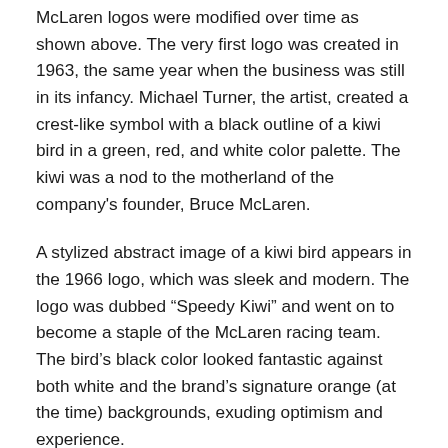McLaren logos were modified over time as shown above. The very first logo was created in 1963, the same year when the business was still in its infancy. Michael Turner, the artist, created a crest-like symbol with a black outline of a kiwi bird in a green, red, and white color palette. The kiwi was a nod to the motherland of the company's founder, Bruce McLaren.
A stylized abstract image of a kiwi bird appears in the 1966 logo, which was sleek and modern. The logo was dubbed “Speedy Kiwi” and went on to become a staple of the McLaren racing team. The bird’s black color looked fantastic against both white and the brand’s signature orange (at the time) backgrounds, exuding optimism and experience.